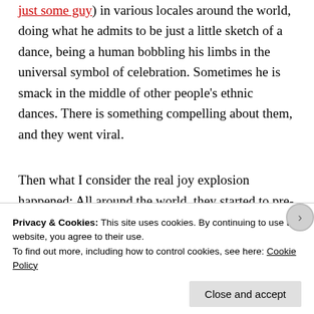just some guy) in various locales around the world, doing what he admits to be just a little sketch of a dance, being a human bobbling his limbs in the universal symbol of celebration. Sometimes he is smack in the middle of other people's ethnic dances. There is something compelling about them, and they went viral.
Then what I consider the real joy explosion happened: All around the world, they started to pre-announce Matt's advent (you can sign up on his website) and groups of random people would flash mob there and start dancing too.
Privacy & Cookies: This site uses cookies. By continuing to use this website, you agree to their use.
To find out more, including how to control cookies, see here: Cookie Policy